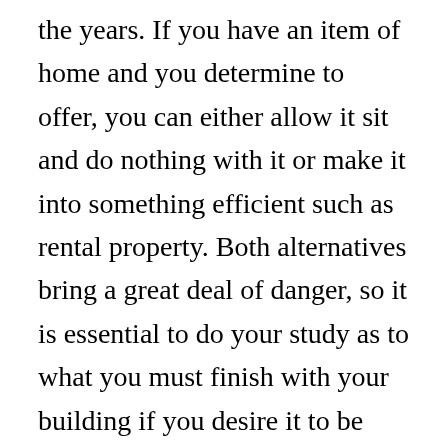the years. If you have an item of home and you determine to offer, you can either allow it sit and do nothing with it or make it into something efficient such as rental property. Both alternatives bring a great deal of danger, so it is essential to do your study as to what you must finish with your building if you desire it to be worth as much as possible when it concerns a financial investment. A lot of people select to allow their real estate rest as well as lease it out instead of make an